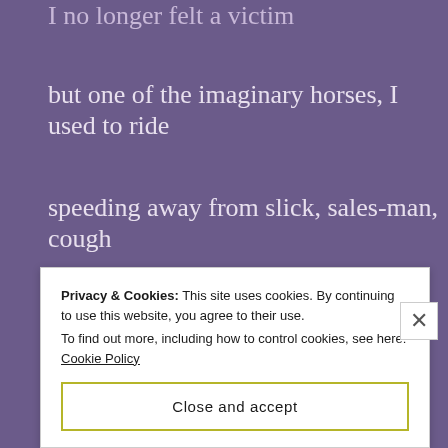I no longer felt a victim
but one of the imaginary horses, I used to ride
speeding away from slick, sales-man, cough
of curb-side prowler
I wanted to make her better
but sometimes you can only
Privacy & Cookies: This site uses cookies. By continuing to use this website, you agree to their use.
To find out more, including how to control cookies, see here: Cookie Policy
Close and accept